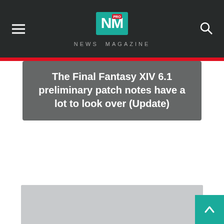NEWS MAGAZINE
The Final Fantasy XIV 6.1 preliminary patch notes have a lot to look over (Update)
[Figure (photo): Partially visible background image at bottom of page, grayscale/light gray]